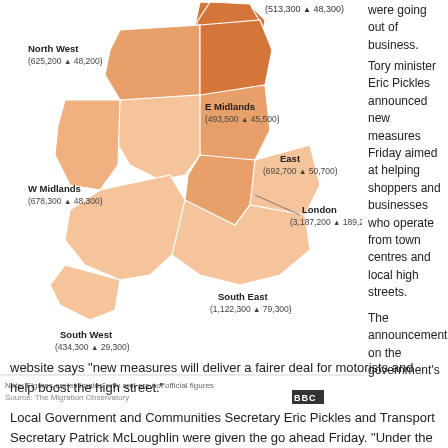[Figure (map): Map of England showing immigration figures by region: North West (625,200 + 48,200), E Midlands (493,500 + 45,500), W Midlands (678,300 + 48,300), East (692,700 + 50,700), London (3,187,200 + 189,200), South East (1,122,300 + 79,300), South West (434,300 + 29,300), and a northern region (513,300 + 48,300). Regions shaded in varying oranges.]
Note: Figures are estimates only and are not official figures
Source: The Migration Observatory
were going out of business.

Tory minister Eric Pickles announced new measures Friday aimed at helping shoppers and businesses who operate from town centres and local high streets.
The announcement on the government's website says "new measures will deliver a fairer deal for motorists and help boost the high street."
Local Government and Communities Secretary Eric Pickles and Transport Secretary Patrick McLoughlin were given the go ahead Friday. "Under the new laws to help local shops, drivers will get a 10 minute grace period when parked in a bay. This will prevent fines for being just a few minutes late back to the vehicle – be it in a paid or free parking space. And the use of CCTV 'spy cars' has been banned in the majority of circumstances ending the tyranny of automated fines landing on doorsteps and being issued in